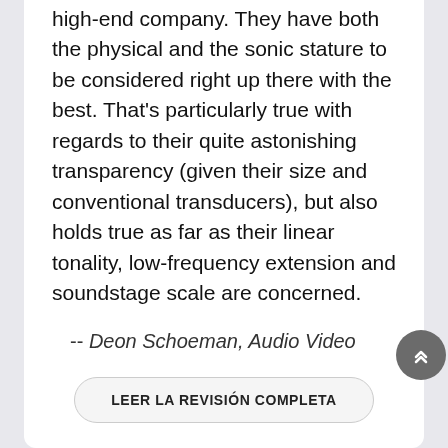high-end company. They have both the physical and the sonic stature to be considered right up there with the best. That's particularly true with regards to their quite astonishing transparency (given their size and conventional transducers), but also holds true as far as their linear tonality, low-frequency extension and soundstage scale are concerned.
-- Deon Schoeman, Audio Video
LEER LA REVISIÓN COMPLETA